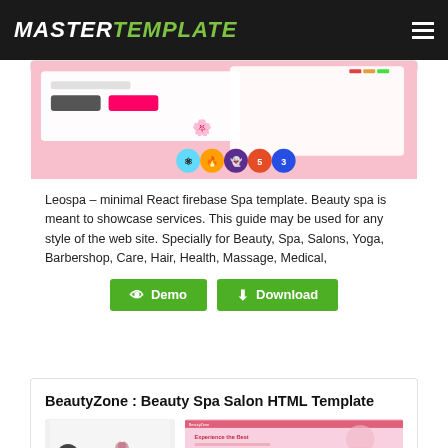MASTERTEMPLATE
[Figure (screenshot): Leospa React Firebase Spa template preview with technology icons (React, Firebase, Ghost, HTML5, CSS3)]
Leospa – minimal React firebase Spa template. Beauty spa is meant to showcase services. This guide may be used for any style of the web site. Specially for Beauty, Spa, Salons, Yoga, Barbershop, Care, Hair, Health, Massage, Medical,
[Figure (screenshot): Demo and Download buttons for the template]
BeautyZone : Beauty Spa Salon HTML Template
[Figure (screenshot): BeautyZone Beauty Spa Salon HTML Template preview showing logo and website mockup]